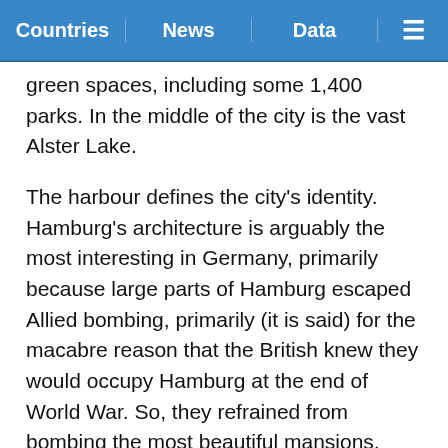Countries | News | Data | ≡
green spaces, including some 1,400 parks. In the middle of the city is the vast Alster Lake.
The harbour defines the city's identity. Hamburg's architecture is arguably the most interesting in Germany, primarily because large parts of Hamburg escaped Allied bombing, primarily (it is said) for the macabre reason that the British knew they would occupy Hamburg at the end of World War. So, they refrained from bombing the most beautiful mansions, located on the lake which runs straight down the middle of the city.
The result is that the city was spared from the types